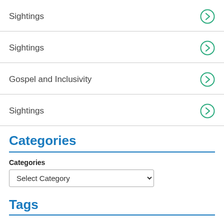Sightings
Sightings
Gospel and Inclusivity
Sightings
Categories
Categories
Select Category
Tags
abby king-kaiser advent bible study christmas church church